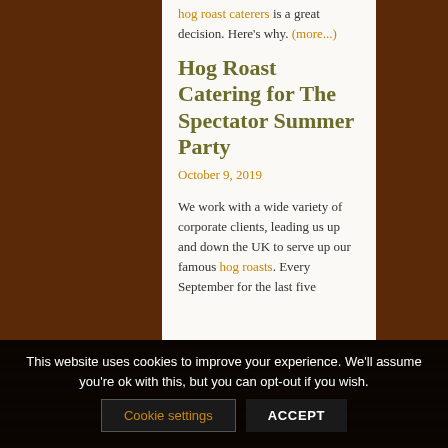hog roast caterers is a great decision. Here's why. (more...)
Hog Roast Catering for The Spectator Summer Party
October 9, 2019
We work with a wide variety of corporate clients, leading us up and down the UK to serve up our famous hog roasts. Every September for the last five
This website uses cookies to improve your experience. We'll assume you're ok with this, but you can opt-out if you wish.
Cookie settings  ACCEPT